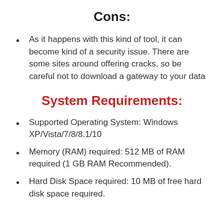Cons:
As it happens with this kind of tool, it can become kind of a security issue. There are some sites around offering cracks, so be careful not to download a gateway to your data
System Requirements:
Supported Operating System: Windows XP/Vista/7/8/8.1/10
Memory (RAM) required: 512 MB of RAM required (1 GB RAM Recommended).
Hard Disk Space required: 10 MB of free hard disk space required.